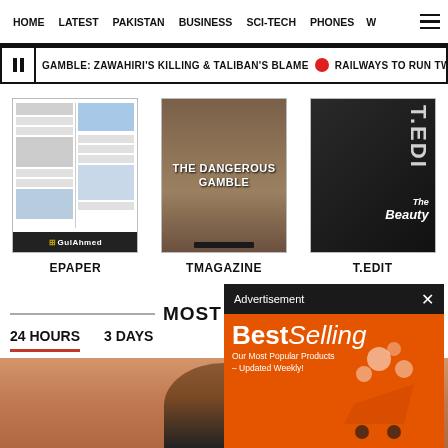HOME  LATEST  PAKISTAN  BUSINESS  SCI-TECH  PHONES  W
GAMBLE: ZAWAHIRI'S KILLING & TALIBAN'S BLAME  RAILWAYS TO RUN TWO LAH
[Figure (screenshot): Three publication thumbnails: EPAPER (newspaper front page with Gul Ahmed ad), TMAGAZINE (The Dangerous Gamble cover), T.EDIT (beauty magazine cover)]
EPAPER
TMAGAZINE
T.EDIT
[Figure (screenshot): Advertisement overlay with 'BestSelling - Our Most Popular Products – Updated Weekly!' on orange background with AliExpress branding]
MOST R
24 HOURS  3 DAYS
[Figure (photo): Close-up photo of a person's face, cropped showing top of head and forehead]